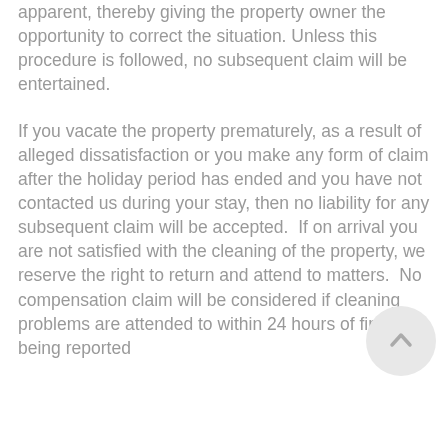apparent, thereby giving the property owner the opportunity to correct the situation. Unless this procedure is followed, no subsequent claim will be entertained.
If you vacate the property prematurely, as a result of alleged dissatisfaction or you make any form of claim after the holiday period has ended and you have not contacted us during your stay, then no liability for any subsequent claim will be accepted.  If on arrival you are not satisfied with the cleaning of the property, we reserve the right to return and attend to matters.  No compensation claim will be considered if cleaning problems are attended to within 24 hours of first being reported